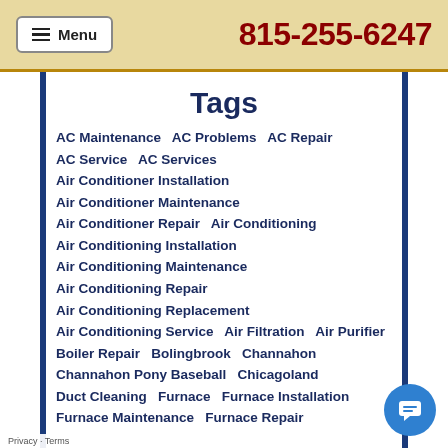Menu | 815-255-6247
Tags
AC Maintenance   AC Problems   AC Repair
AC Service   AC Services
Air Conditioner Installation
Air Conditioner Maintenance
Air Conditioner Repair   Air Conditioning
Air Conditioning Installation
Air Conditioning Maintenance
Air Conditioning Repair
Air Conditioning Replacement
Air Conditioning Service   Air Filtration   Air Purifier
Boiler Repair   Bolingbrook   Channahon
Channahon Pony Baseball   Chicagoland
Duct Cleaning   Furnace   Furnace Installation
Furnace Maintenance   Furnace Repair